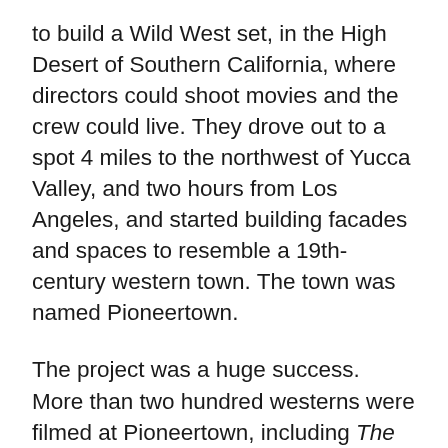to build a Wild West set, in the High Desert of Southern California, where directors could shoot movies and the crew could live. They drove out to a spot 4 miles to the northwest of Yucca Valley, and two hours from Los Angeles, and started building facades and spaces to resemble a 19th-century western town. The town was named Pioneertown.
The project was a huge success. More than two hundred westerns were filmed at Pioneertown, including The Cisco Kid, and it served as the backdrop for a large number of television shows, notably Judge Roy Bean and The Gene Autry Show. As the years rolled by and Hollywood's interest shifted from westerns to new ideas, business in